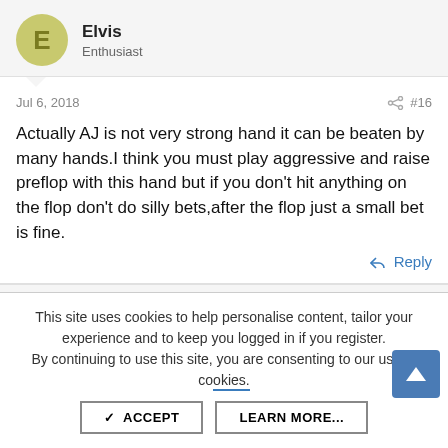Elvis
Enthusiast
Jul 6, 2018
#16
Actually AJ is not very strong hand it can be beaten by many hands.I think you must play aggressive and raise preflop with this hand but if you don't hit anything on the flop don't do silly bets,after the flop just a small bet is fine.
Reply
57noona
Legend
This site uses cookies to help personalise content, tailor your experience and to keep you logged in if you register.
By continuing to use this site, you are consenting to our use of cookies.
ACCEPT
LEARN MORE...